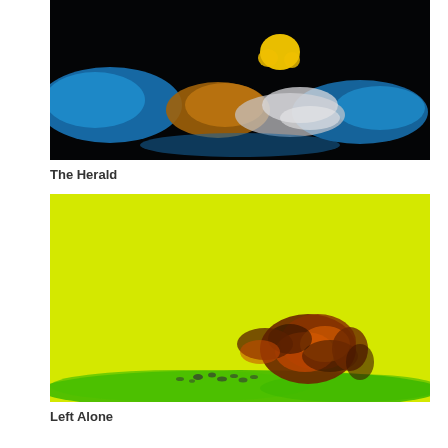[Figure (photo): Abstract photograph with dark black background, blue glowing shapes on left and right, a brownish-orange blob in the center-left, and a white/grey wispy figure in the center-right, with a small yellow crown-like shape at the top.]
The Herald
[Figure (photo): Abstract photograph with bright yellow-green background, green band at the bottom, and a dark brown/orange/black creature resembling a rooster or bird in the lower-center area, with small dark specks scattered to its left.]
Left Alone